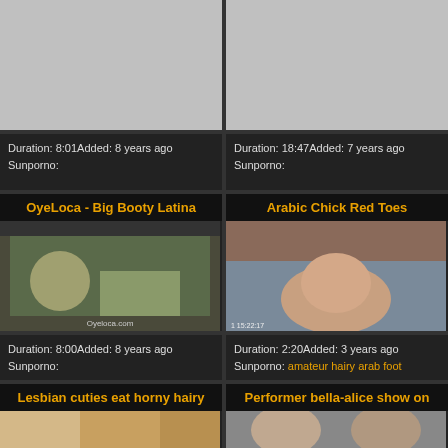[Figure (photo): Gray placeholder thumbnail top left]
[Figure (photo): Gray placeholder thumbnail top right]
Duration: 8:01Added: 8 years ago
Sunporno:
Duration: 18:47Added: 7 years ago
Sunporno:
OyeLoca - Big Booty Latina
Arabic Chick Red Toes
[Figure (photo): Video thumbnail showing two people near a window with city view in background, watermark Oyeloca.com]
[Figure (photo): Video thumbnail showing a woman in a parking lot, timestamp 1 15:22:17]
Duration: 8:00Added: 8 years ago
Sunporno:
Duration: 2:20Added: 3 years ago
Sunporno: amateur hairy arab foot
Lesbian cuties eat horny hairy
Performer bella-alice show on
[Figure (photo): Partial video thumbnail bottom left]
[Figure (photo): Partial video thumbnail bottom right]